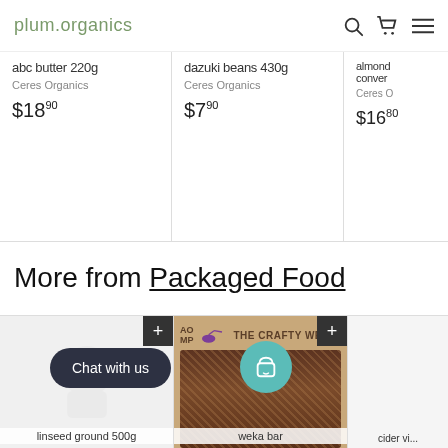plum.organics
abc butter 220g
Ceres Organics
$18.90
dazuki beans 430g
Ceres Organics
$7.90
almond... conver...
Ceres O...
$16.80
More from Packaged Food
[Figure (photo): Placeholder image for linseed ground 500g product]
[Figure (photo): The Crafty Weka bar product photo showing a seed/nut bar with brown paper packaging]
linseed ground 500g
weka bar
cider vi...
Chat with us